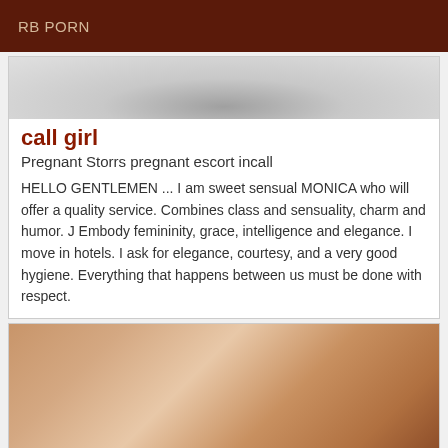RB PORN
[Figure (photo): Black and white photo, partially visible, upper portion cropped]
call girl
Pregnant Storrs pregnant escort incall
HELLO GENTLEMEN ... I am sweet sensual MONICA who will offer a quality service. Combines class and sensuality, charm and humor. J Embody femininity, grace, intelligence and elegance. I move in hotels. I ask for elegance, courtesy, and a very good hygiene. Everything that happens between us must be done with respect.
[Figure (photo): Color photo showing partial torso with skin tones and dark lace clothing]